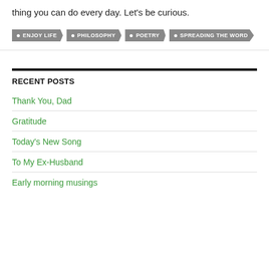thing you can do every day. Let's be curious.
ENJOY LIFE
PHILOSOPHY
POETRY
SPREADING THE WORD
RECENT POSTS
Thank You, Dad
Gratitude
Today's New Song
To My Ex-Husband
Early morning musings